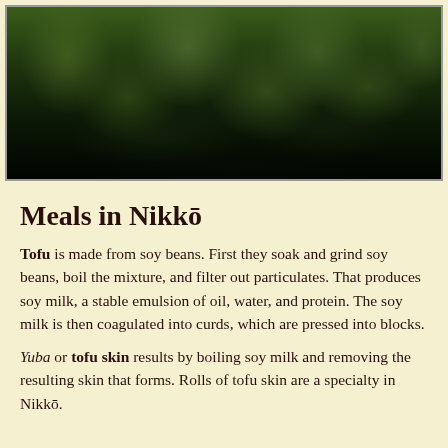[Figure (photo): Forest of dense dark green trees against a cloudy sky, photographed from below looking upward at the canopy.]
Meals in Nikkō
Tofu is made from soy beans. First they soak and grind soy beans, boil the mixture, and filter out particulates. That produces soy milk, a stable emulsion of oil, water, and protein. The soy milk is then coagulated into curds, which are pressed into blocks.
Yuba or tofu skin results by boiling soy milk and removing the resulting skin that forms. Rolls of tofu skin are a specialty in Nikkō.